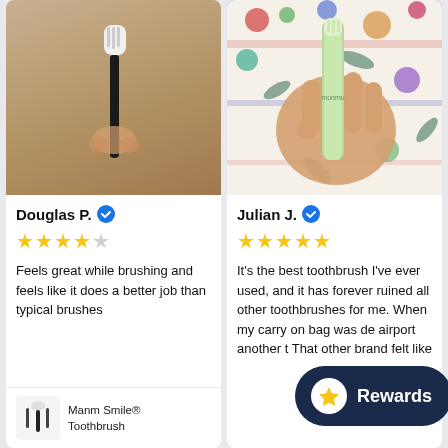[Figure (photo): Photo of a thin black toothbrush held by a hand against a beige/tan background]
Douglas P. ✓
★★★★☆ (4 out of 5 stars)
Feels great while brushing and feels like it does a better job than typical brushes
Manm Smile® Toothbrush
[Figure (photo): Photo of a hand holding a light green toothbrush with 'monmu' text, against a floral patterned fabric background]
Julian J. ✓
★★★★★ (5 out of 5 stars)
It's the best toothbrush I've ever used, and it has forever ruined all other toothbrushes for me. When my carry on bag was de airport another t That other brand felt like
Rewards